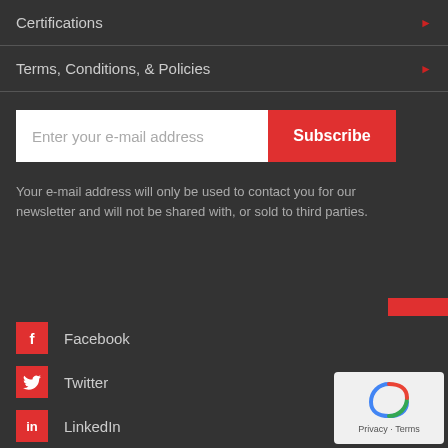Certifications
Terms, Conditions, & Policies
Enter your e-mail address
Subscribe
Your e-mail address will only be used to contact you for our newsletter and will not be shared with, or sold to third parties.
Building and Securing Justice across Euro
Facebook
Twitter
LinkedIn